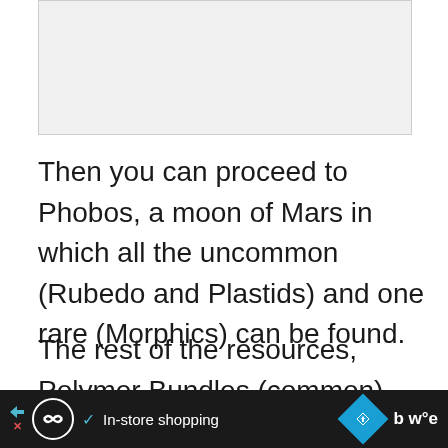[Figure (other): Gray placeholder image region at top of page]
Then you can proceed to Phobos, a moon of Mars in which all the uncommon (Rubedo and Plastids) and one rare (Morphics) can be found.
The rest of the resources, Polymer Bundles (common) and Neural Sensors (rare) are separated in different planets